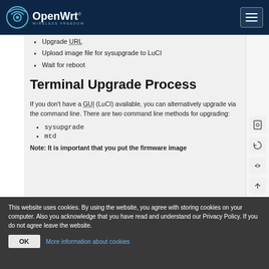OpenWrt
Upgrade URL
Upload image file for sysupgrade to LuCI
Wait for reboot
Terminal Upgrade Process
If you don't have a GUI (LuCI) available, you can alternatively upgrade via the command line. There are two command line methods for upgrading:
sysupgrade
mtd
Note: It is important that you put the firmware image
This website uses cookies. By using the website, you agree with storing cookies on your computer. Also you acknowledge that you have read and understand our Privacy Policy. If you do not agree leave the website.